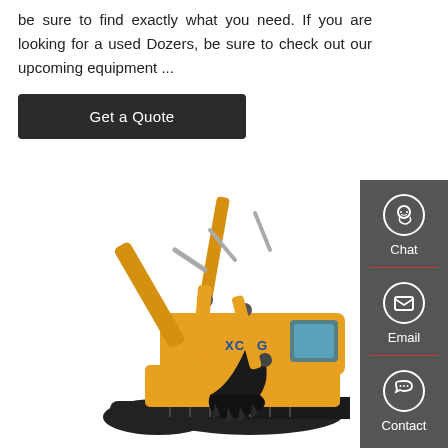be sure to find exactly what you need. If you are looking for a used Dozers, be sure to check out our upcoming equipment ...
Get a Quote
[Figure (photo): Yellow XCMG excavator/crawler digger on a white background, side view showing boom, arm, bucket, and tracks]
[Figure (infographic): Right sidebar with three contact options: Chat (headset icon), Email (envelope icon), and Contact (speech bubble icon), separated by red dividers, on a dark grey background]